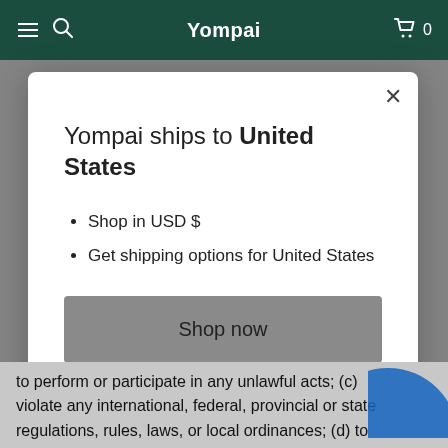Yompai
Yompai ships to United States
Shop in USD $
Get shipping options for United States
Shop now
Change shipping country
to perform or participate in any unlawful acts; (c) violate any international, federal, provincial or state regulations, rules, laws, or local ordinances; (d) to